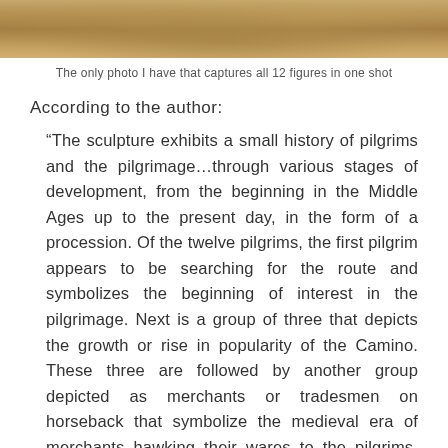[Figure (photo): Cropped photograph showing sandy/golden-toned ground or surface, appearing to be an outdoor scene with warm earth tones]
The only photo I have that captures all 12 figures in one shot
According to the author:
“The sculpture exhibits a small history of pilgrims and the pilgrimage…through various stages of development, from the beginning in the Middle Ages up to the present day, in the form of a procession. Of the twelve pilgrims, the first pilgrim appears to be searching for the route and symbolizes the beginning of interest in the pilgrimage. Next is a group of three that depicts the growth or rise in popularity of the Camino. These three are followed by another group depicted as merchants or tradesmen on horseback that symbolize the medieval era of merchants hawking their wares to the pilgrims. Spaced away from them is a solitary figure that characterizes the decline in pilgrimages